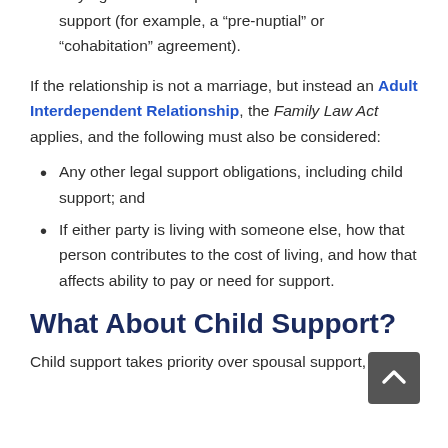Any agreement the parties made that deals with support (for example, a “pre-nuptial” or “cohabitation” agreement).
If the relationship is not a marriage, but instead an Adult Interdependent Relationship, the Family Law Act applies, and the following must also be considered:
Any other legal support obligations, including child support; and
If either party is living with someone else, how that person contributes to the cost of living, and how that affects ability to pay or need for support.
What About Child Support?
Child support takes priority over spousal support, but it